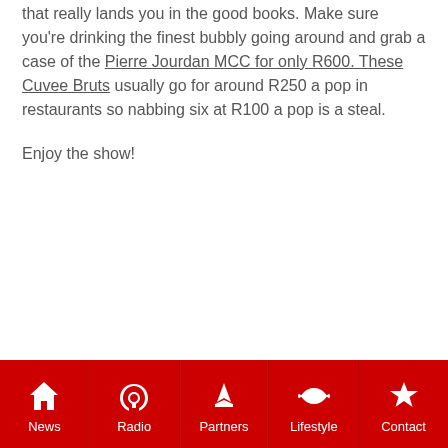that really lands you in the good books. Make sure you're drinking the finest bubbly going around and grab a case of the Pierre Jourdan MCC for only R600. These Cuvee Bruts usually go for around R250 a pop in restaurants so nabbing six at R100 a pop is a steal.
Enjoy the show!
News | Radio | Partners | Lifestyle | Contact